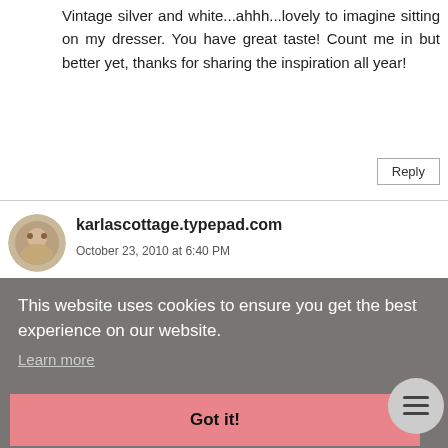Vintage silver and white…ahhh…lovely to imagine sitting on my dresser. You have great taste! Count me in but better yet, thanks for sharing the inspiration all year!
Reply
karlascottage.typepad.com
October 23, 2010 at 6:40 PM
your ean, ever
Reply
This website uses cookies to ensure you get the best experience on our website.
Learn more
Got it!
Mimi Sue